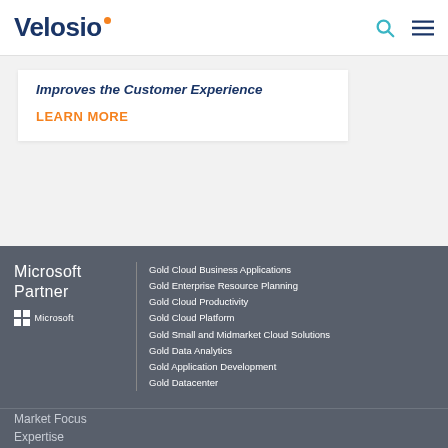Velosio
Improves the Customer Experience
LEARN MORE
[Figure (logo): Microsoft Partner logo with Windows grid icon and Microsoft wordmark]
Gold Cloud Business Applications
Gold Enterprise Resource Planning
Gold Cloud Productivity
Gold Cloud Platform
Gold Small and Midmarket Cloud Solutions
Gold Data Analytics
Gold Application Development
Gold Datacenter
Market Focus
Expertise